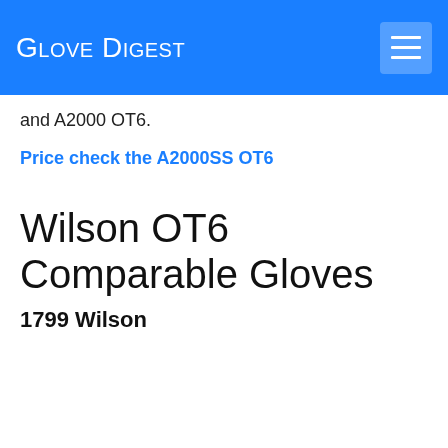Glove Digest
and A2000 OT6.
Price check the A2000SS OT6
Wilson OT6 Comparable Gloves
1799 Wilson